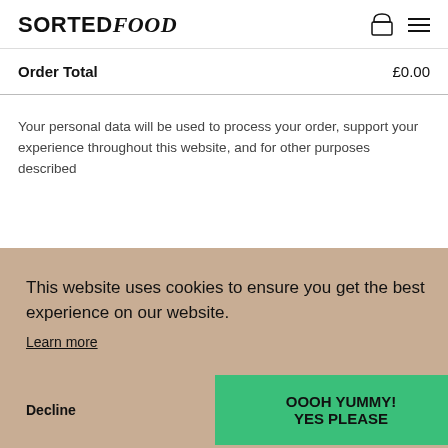SORTED FOOD
| Order Total | £0.00 |
| --- | --- |
Your personal data will be used to process your order, support your experience throughout this website, and for other purposes described
This website uses cookies to ensure you get the best experience on our website.
Learn more
Decline   OOOH YUMMY! YES PLEASE
>.rv_button.opened:after{content:"\\\\\\\\\\\\\\\\\\\\\\\\\\\\32";}<!–